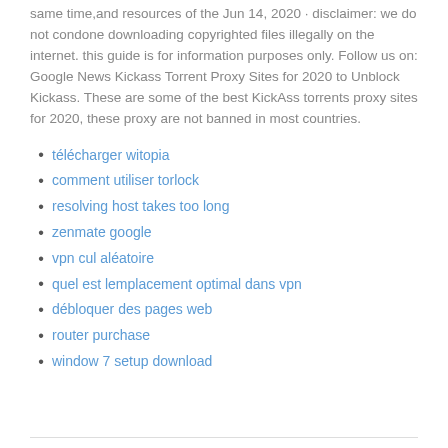same time,and resources of the Jun 14, 2020 · disclaimer: we do not condone downloading copyrighted files illegally on the internet. this guide is for information purposes only. Follow us on: Google News Kickass Torrent Proxy Sites for 2020 to Unblock Kickass. These are some of the best KickAss torrents proxy sites for 2020, these proxy are not banned in most countries.
télécharger witopia
comment utiliser torlock
resolving host takes too long
zenmate google
vpn cul aléatoire
quel est lemplacement optimal dans vpn
débloquer des pages web
router purchase
window 7 setup download